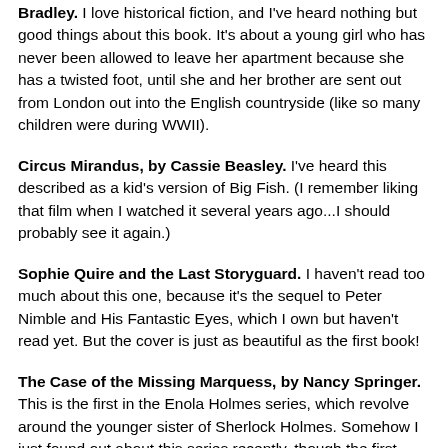Bradley. I love historical fiction, and I've heard nothing but good things about this book. It's about a young girl who has never been allowed to leave her apartment because she has a twisted foot, until she and her brother are sent out from London out into the English countryside (like so many children were during WWII).
Circus Mirandus, by Cassie Beasley. I've heard this described as a kid's version of Big Fish. (I remember liking that film when I watched it several years ago...I should probably see it again.)
Sophie Quire and the Last Storyguard. I haven't read too much about this one, because it's the sequel to Peter Nimble and His Fantastic Eyes, which I own but haven't read yet. But the cover is just as beautiful as the first book!
The Case of the Missing Marquess, by Nancy Springer. This is the first in the Enola Holmes series, which revolve around the younger sister of Sherlock Holmes. Somehow I just found out about this series recently, though the first book came out nine years ago! And the newer covers are